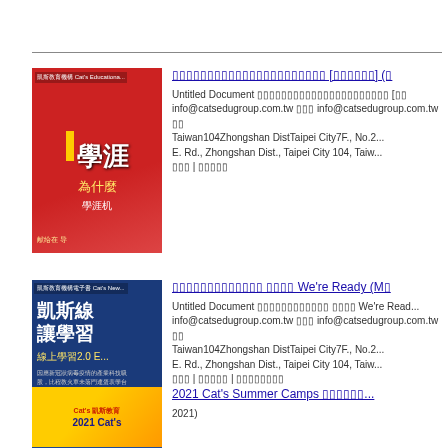□□□□□□□□□□□□□□□□□□□□□□ [□□□□□□] (□
Untitled Document □□□□□□□□□□□□□□□□□□□□□□ [□□ info@catsedugroup.com.tw □□□ info@catsedugroup.com.tw □□ Taiwan104Zhongshan DistTaipei City7F., No.2... E. Rd., Zhongshan Dist., Taipei City 104, Taiw... □□□ | □□□□□
□□□□□□□□□□□□□ □□□□ We're Ready (M□
Untitled Document □□□□□□□□□□□□ □□□□ We're Read... info@catsedugroup.com.tw □□□ info@catsedugroup.com.tw □□ Taiwan104Zhongshan DistTaipei City7F., No.2... E. Rd., Zhongshan Dist., Taipei City 104, Taiw... □□□ | □□□□□ | □□□□□□□□
2021 Cat's Summer Camps □□□□□□...
2021)